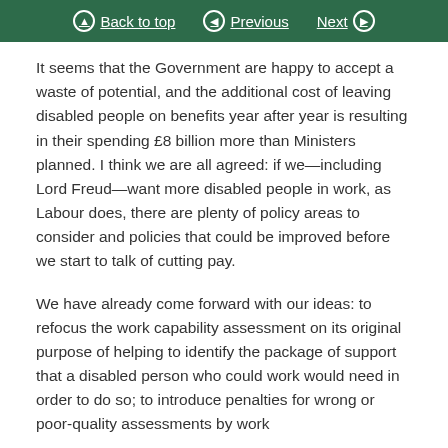Back to top | Previous | Next
It seems that the Government are happy to accept a waste of potential, and the additional cost of leaving disabled people on benefits year after year is resulting in their spending £8 billion more than Ministers planned. I think we are all agreed: if we—including Lord Freud—want more disabled people in work, as Labour does, there are plenty of policy areas to consider and policies that could be improved before we start to talk of cutting pay.
We have already come forward with our ideas: to refocus the work capability assessment on its original purpose of helping to identify the package of support that a disabled person who could work would need in order to do so; to introduce penalties for wrong or poor-quality assessments by work